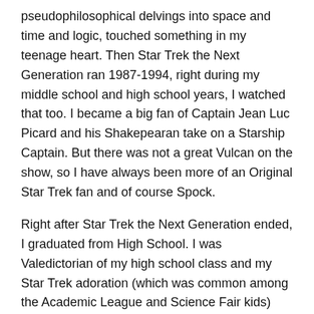pseudophilosophical delvings into space and time and logic, touched something in my teenage heart. Then Star Trek the Next Generation ran 1987-1994, right during my middle school and high school years, I watched that too. I became a big fan of Captain Jean Luc Picard and his Shakepearan take on a Starship Captain. But there was not a great Vulcan on the show, so I have always been more of an Original Star Trek fan and of course Spock.
Right after Star Trek the Next Generation ended, I graduated from High School. I was Valedictorian of my high school class and my Star Trek adoration (which was common among the Academic League and Science Fair kids) was well known. I had many classmates and teachers request that I not talk about Star Trek during my Valedicctory address. The past